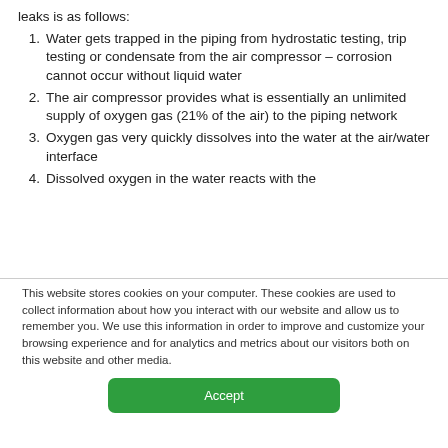leaks is as follows:
Water gets trapped in the piping from hydrostatic testing, trip testing or condensate from the air compressor – corrosion cannot occur without liquid water
The air compressor provides what is essentially an unlimited supply of oxygen gas (21% of the air) to the piping network
Oxygen gas very quickly dissolves into the water at the air/water interface
Dissolved oxygen in the water reacts with the
This website stores cookies on your computer. These cookies are used to collect information about how you interact with our website and allow us to remember you. We use this information in order to improve and customize your browsing experience and for analytics and metrics about our visitors both on this website and other media.
Accept